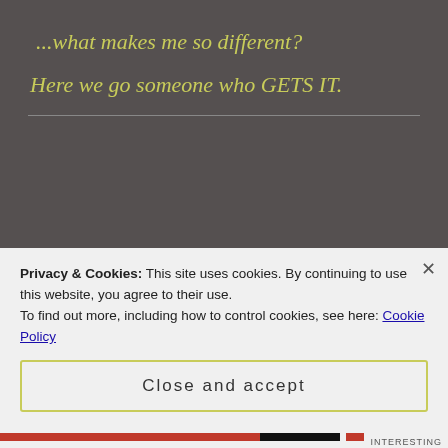...what makes me so different?
Here we go someone who GETS IT.
Share this:
Privacy & Cookies: This site uses cookies. By continuing to use this website, you agree to their use.
To find out more, including how to control cookies, see here: Cookie Policy
Close and accept